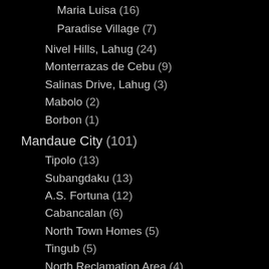Maria Luisa (16)
Paradise Village (7)
Nivel Hills, Lahug (24)
Monterrazas de Cebu (9)
Salinas Drive, Lahug (3)
Mabolo (2)
Borbon (1)
Mandaue City (101)
Tipolo (13)
Subangdaku (13)
A.S. Fortuna (12)
Cabancalan (6)
North Town Homes (5)
Tingub (5)
North Reclamation Area (4)
Alang-alang (3)